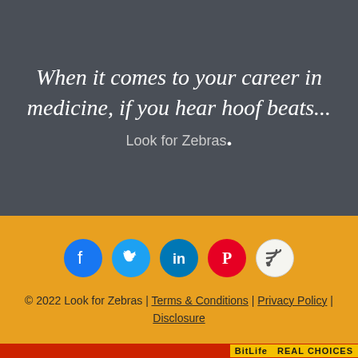When it comes to your career in medicine, if you hear hoof beats... Look for Zebras.
[Figure (infographic): Social media icons: Facebook (blue circle), Twitter (blue circle), LinkedIn (blue circle), Pinterest (red circle), RSS feed (white/grey circle)]
© 2022 Look for Zebras | Terms & Conditions | Privacy Policy | Disclosure
[Figure (infographic): BitLife advertisement banner with emoji characters: devil emoji, woman shrugging emoji, angel face emoji, sperm emoji, and BitLife logo with text REAL CHOICES]